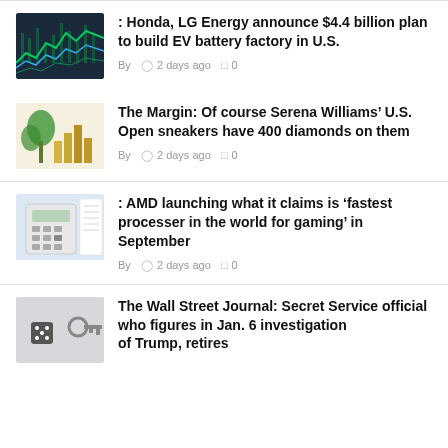: Honda, LG Energy announce $4.4 billion plan to build EV battery factory in U.S. By 2 days ago 0
The Margin: Of course Serena Williams’ U.S. Open sneakers have 400 diamonds on them By 2 days ago 0
: AMD launching what it claims is ‘fastest processer in the world for gaming’ in September By 2 days ago 0
The Wall Street Journal: Secret Service official who figures in Jan. 6 investigation of Trump, retires